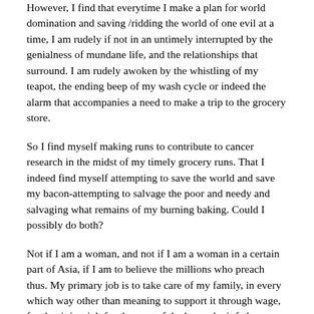However, I find that everytime I make a plan for world domination and saving /ridding the world of one evil at a time, I am rudely if not in an untimely interrupted by the genialness of mundane life, and the relationships that surround. I am rudely awoken by the whistling of my teapot, the ending beep of my wash cycle or indeed the alarm that accompanies a need to make a trip to the grocery store.
So I find myself making runs to contribute to cancer research in the midst of my timely grocery runs. That I indeed find myself attempting to save the world and save my bacon-attempting to salvage the poor and needy and salvaging what remains of my burning baking. Could I possibly do both?
Not if I am a woman, and not if I am a woman in a certain part of Asia, if I am to believe the millions who preach thus. My primary job is to take care of my family, in every which way other than meaning to support it through wage, for that it is a job for the man of the house-be it father, husband or son.
At this point I find myself raising my hand to ask a question. Might I be able to do both?
I hear scoffs, rebuttals and even some distant sounds that mimic encouragemt.
So I choose to completely ignore all said sounds and make